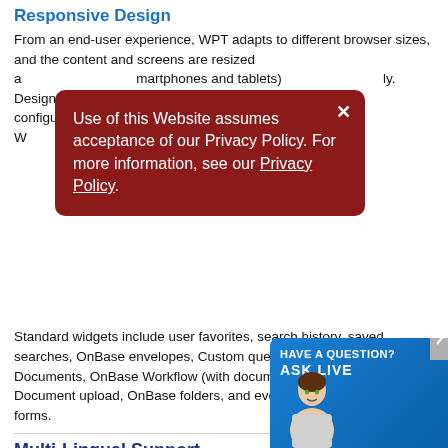Responsive Design
From an end-user experience, WPT adapts to different browser sizes, and the content and screens are resized a... smartphones and tablets)... ly. Designing W... a layout and configu... components, or widgets. W... custom widgets can...
[Figure (screenshot): Cookie/Privacy policy popup with dark red background. Text: 'Use of this Website assumes acceptance of our Privacy Policy. For more information, see our Privacy Policy.' with a close (x) button in top right.]
Standard widgets include user favorites, search history, saved searches, OnBase envelopes, Custom query searches, Required Documents, OnBase Workflow (with document per queue counts), Document upload, OnBase folders, and even access to electronic forms.
[Figure (screenshot): Blue 'Have a Question? Ask Live' chat widget with a woman image in the bottom right corner of the page.]
Multi-Lingual Support